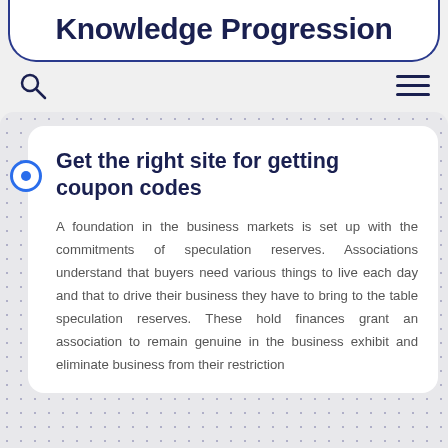Knowledge Progression
Get the right site for getting coupon codes
A foundation in the business markets is set up with the commitments of speculation reserves. Associations understand that buyers need various things to live each day and that to drive their business they have to bring to the table speculation reserves. These hold finances grant an association to remain genuine in the business exhibit and eliminate business from their restriction